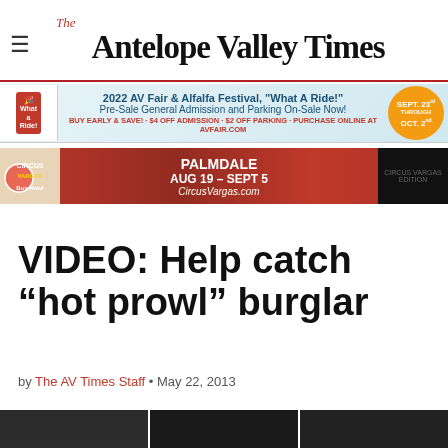The Antelope Valley Times
[Figure (infographic): AV Fair & Alfalfa Festival 2022 advertisement banner — 'What A Ride!' Pre-Sale General Admission and Parking On-Sale Now! Sept 23 through Oct 2]
[Figure (infographic): Circus Vargas advertisement banner — Palmdale AUG 19 – SEPT 5, CircusVargas.com]
VIDEO: Help catch “hot prowl” burglar
by The AV Times Staff • May 22, 2013
[Figure (photo): Three black and white security camera photos at the bottom of the page]